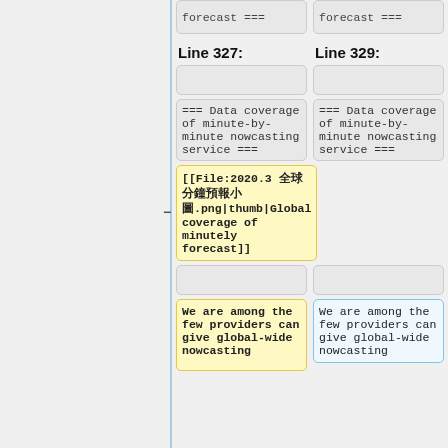forecast ===
forecast ===
Line 327:
Line 329:
=== Data coverage of minute-by-minute nowcasting service ===
=== Data coverage of minute-by-minute nowcasting service ===
[[File:2020.3 全球分鐘預報小圖.png|thumb|Global coverage of minutely forecast]]
We are among the few providers can give global-wide nowcasting
We are among the few providers can give global-wide nowcasting